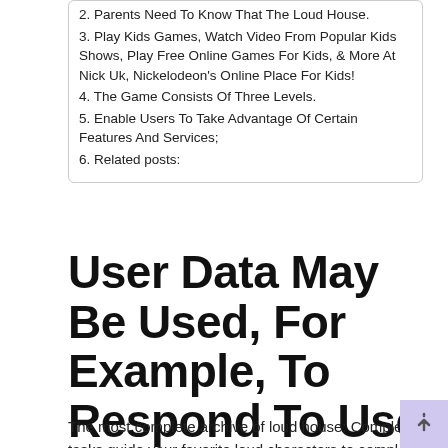2. Parents Need To Know That The Loud House.
3. Play Kids Games, Watch Video From Popular Kids Shows, Play Free Online Games For Kids, & More At Nick Uk, Nickelodeon's Online Place For Kids!
4. The Game Consists Of Three Levels.
5. Enable Users To Take Advantage Of Certain Features And Services;
6. Related posts:
User Data May Be Used, For Example, To Respond To User Requests;
The most complete archive of loud house: Complete tasks guide your favorite loud characters to complete